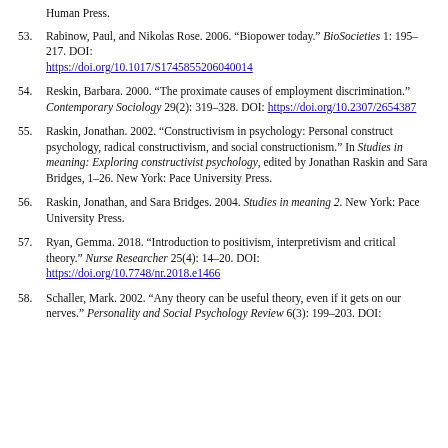Human Press.
53. Rabinow, Paul, and Nikolas Rose. 2006. “Biopower today.” BioSocieties 1: 195–217. DOI: https://doi.org/10.1017/S1745855206040014
54. Reskin, Barbara. 2000. “The proximate causes of employment discrimination.” Contemporary Sociology 29(2): 319–328. DOI: https://doi.org/10.2307/2654387
55. Raskin, Jonathan. 2002. “Constructivism in psychology: Personal construct psychology, radical constructivism, and social constructionism.” In Studies in meaning: Exploring constructivist psychology, edited by Jonathan Raskin and Sara Bridges, 1–26. New York: Pace University Press.
56. Raskin, Jonathan, and Sara Bridges. 2004. Studies in meaning 2. New York: Pace University Press.
57. Ryan, Gemma. 2018. “Introduction to positivism, interpretivism and critical theory.” Nurse Researcher 25(4): 14–20. DOI: https://doi.org/10.7748/nr.2018.e1466
58. Schaller, Mark. 2002. “Any theory can be useful theory, even if it gets on our nerves.” Personality and Social Psychology Review 6(3): 199–203. DOI: